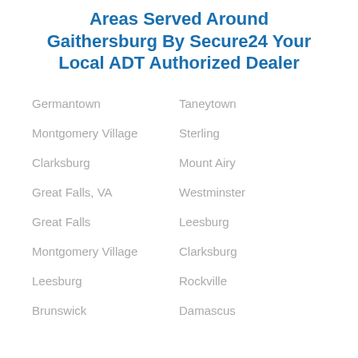Areas Served Around Gaithersburg By Secure24 Your Local ADT Authorized Dealer
Germantown
Taneytown
Montgomery Village
Sterling
Clarksburg
Mount Airy
Great Falls, VA
Westminster
Great Falls
Leesburg
Montgomery Village
Clarksburg
Leesburg
Rockville
Brunswick
Damascus